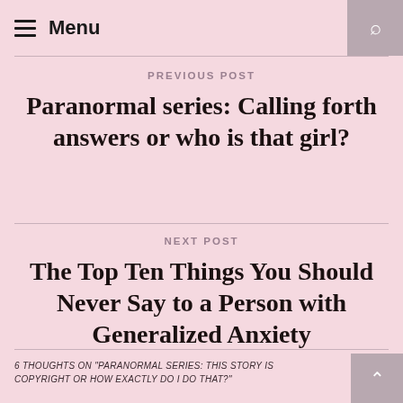≡ Menu
PREVIOUS POST
Paranormal series: Calling forth answers or who is that girl?
NEXT POST
The Top Ten Things You Should Never Say to a Person with Generalized Anxiety
6 THOUGHTS ON "PARANORMAL SERIES: THIS STORY IS COPYRIGHT OR HOW EXACTLY DO I DO THAT?"